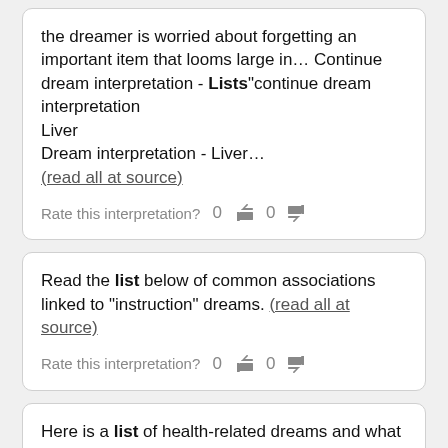the dreamer is worried about forgetting an important item that looms large in… Continue dream interpretation - Lists"continue dream interpretation
Liver
Dream interpretation - Liver…
(read all at source)
Rate this interpretation? 0 👍 0 👎
Read the list below of common associations linked to "instruction" dreams. (read all at source)
Rate this interpretation? 0 👍 0 👎
Here is a list of health-related dreams and what they may mean: AmbulancesIf you dream of an ambulance, you may be concerned about your health or that of someone close to you. (read all at source)